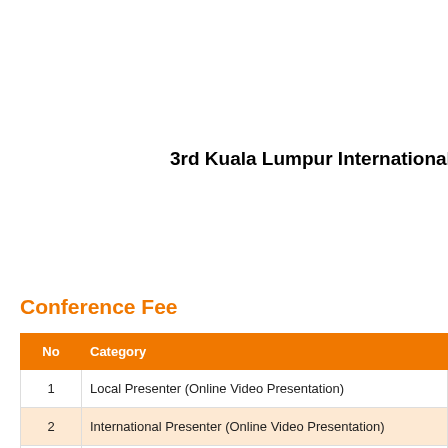3rd Kuala Lumpur International Co
Conference Fee
| No | Category |
| --- | --- |
| 1 | Local Presenter (Online Video Presentation) |
| 2 | International Presenter (Online Video Presentation) |
| 3 | Non – Presenter (Proceeding And Journal Only) - Local |